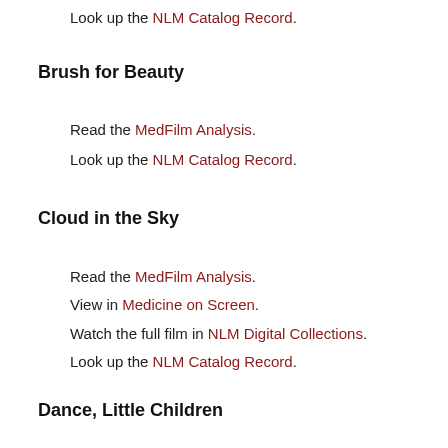Look up the NLM Catalog Record.
Brush for Beauty
Read the MedFilm Analysis.
Look up the NLM Catalog Record.
Cloud in the Sky
Read the MedFilm Analysis.
View in Medicine on Screen.
Watch the full film in NLM Digital Collections.
Look up the NLM Catalog Record.
Dance, Little Children